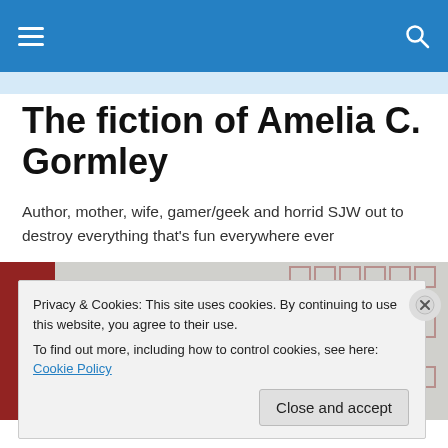Navigation bar with hamburger menu and search icon
The fiction of Amelia C. Gormley
Author, mother, wife, gamer/geek and horrid SJW out to destroy everything that's fun everywhere ever
[Figure (illustration): Book cover for 'Player vs Player' by Amelia C. Gormley, showing large bold serif text 'PLAYER vs PLAYER', with red graphic element on left and maze pattern on right]
Privacy & Cookies: This site uses cookies. By continuing to use this website, you agree to their use.
To find out more, including how to control cookies, see here: Cookie Policy
Close and accept